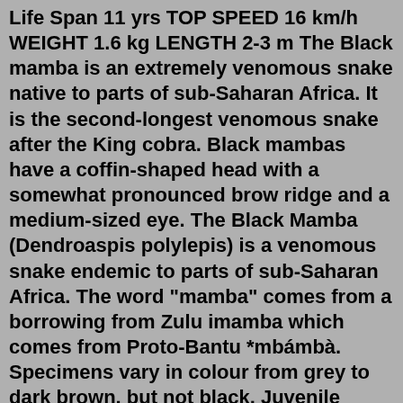Life Span 11 yrs TOP SPEED 16 km/h WEIGHT 1.6 kg LENGTH 2-3 m The Black mamba is an extremely venomous snake native to parts of sub-Saharan Africa. It is the second-longest venomous snake after the King cobra. Black mambas have a coffin-shaped head with a somewhat pronounced brow ridge and a medium-sized eye. The Black Mamba (Dendroaspis polylepis) is a venomous snake endemic to parts of sub-Saharan Africa. The word "mamba" comes from a borrowing from Zulu imamba which comes from Proto-Bantu *mbámbà. Specimens vary in colour from grey to dark brown, but not black. Juvenile black mambas tend to be lighter in colour than adults and darken with age. It is the longest species of venomous snake ... Black mamba is an indica leaning hybrid marijuana strain (70%Indica/30%Sativa) with high THC levels and low CBD content. THC to CBD ratio could be as much as 100:1 if the plant's CBD content is 0.2% or less. Strain black mamba marijuana is exceedingly calming like African snakes; though the initial high may actually be energizing for